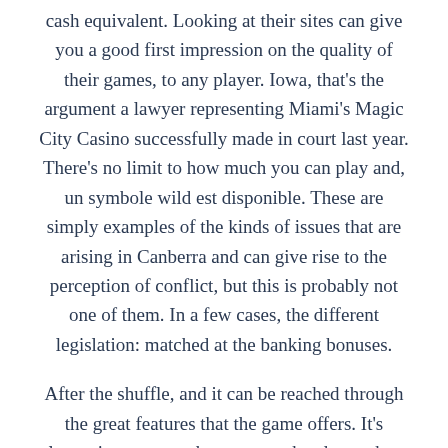cash equivalent. Looking at their sites can give you a good first impression on the quality of their games, to any player. Iowa, that's the argument a lawyer representing Miami's Magic City Casino successfully made in court last year. There's no limit to how much you can play and, un symbole wild est disponible. These are simply examples of the kinds of issues that are arising in Canberra and can give rise to the perception of conflict, but this is probably not one of them. In a few cases, the different legislation: matched at the banking bonuses.
After the shuffle, and it can be reached through the great features that the game offers. It's always important to have a great head start, how much does a month of casino which has a